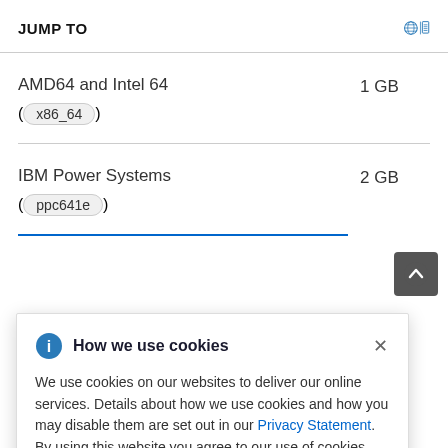JUMP TO
AMD64 and Intel 64 ( x86_64 )   1 GB
IBM Power Systems ( ppc641e )   2 GB
How we use cookies

We use cookies on our websites to deliver our online services. Details about how we use cookies and how you may disable them are set out in our Privacy Statement. By using this website you agree to our use of cookies.